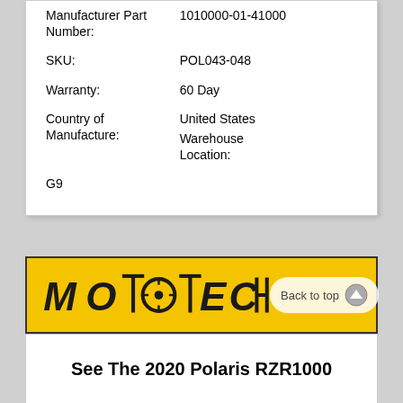| Field | Value |
| --- | --- |
| Manufacturer Part Number: | 1010000-01-41000 |
| SKU: | POL043-048 |
| Warranty: | 60 Day |
| Country of Manufacture: | United States
Warehouse Location:
G9 |
[Figure (logo): MotoTech logo on yellow background with Back to top button]
See The 2020 Polaris RZR1000